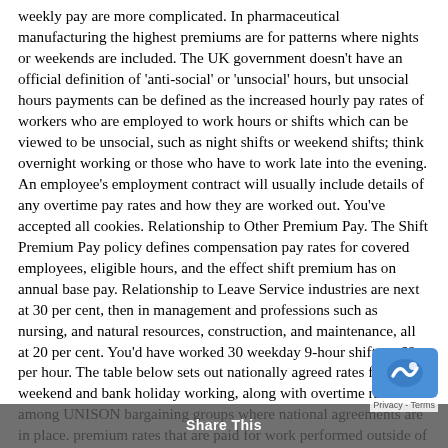weekly pay are more complicated. In pharmaceutical manufacturing the highest premiums are for patterns where nights or weekends are included. The UK government doesn't have an official definition of 'anti-social' or 'unsocial' hours, but unsocial hours payments can be defined as the increased hourly pay rates of workers who are employed to work hours or shifts which can be viewed to be unsocial, such as night shifts or weekend shifts; think overnight working or those who have to work late into the evening. An employee's employment contract will usually include details of any overtime pay rates and how they are worked out. You've accepted all cookies. Relationship to Other Premium Pay. The Shift Premium Pay policy defines compensation pay rates for covered employees, eligible hours, and the effect shift premium has on annual base pay. Relationship to Leave Service industries are next at 30 per cent, then in management and professions such as nursing, and natural resources, construction, and maintenance, all at 20 per cent. You'd have worked 30 weekday 9-hour shifts at £9 per hour. The table below sets out nationally agreed rates for night, weekend and bank holiday working, along with overtime rates among UNISON bargaining groups where national agreements are in place. premium rates that are paid for work performed outside of normal working hours. 30 shifts x 9 hours = 270 hours. Ca your pay for the weekday shifts. Shift allowances are extr offered by employers to incentivize workers to take a shif than the standard -to-5. Premiums Stay With the Shift. Don't worry